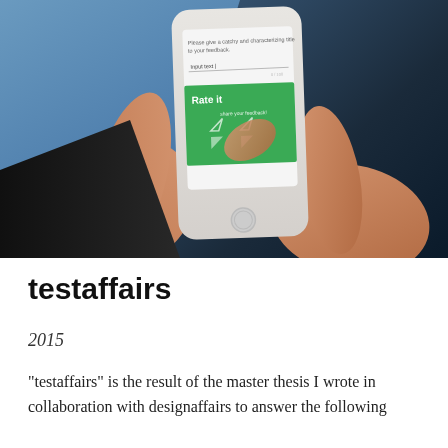[Figure (photo): Photograph of hands holding a smartphone displaying a mobile app with a green screen showing 'Rate it' and UI elements including an input text field and arrow icons]
testaffairs
2015
“testaffairs” is the result of the master thesis I wrote in collaboration with designaffairs to answer the following